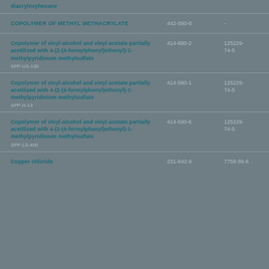diacryloxyhexane
COPOLYMER OF METHYL METHACRYLATE
442-090-8
-
Copolymer of vinyl-alcohol and vinyl acetate partially acetilized with 4-(2-(4-formylphenyl)ethenyl)-1-methylpyridinium methylsulfate
SPP-US-130
414-880-2
125229-74-5
Copolymer of vinyl-alcohol and vinyl acetate partially acetilized with 4-(2-(4-formylphenyl)ethenyl)-1-methylpyridinium methylsulfate
SPP-H-13
414-580-1
125229-74-5
Copolymer of vinyl-alcohol and vinyl acetate partially acetilized with 4-(2-(4-formylphenyl)ethenyl)-1-methylpyridinium methylsulfate
SPP-LS-400
414-590-6
125229-74-5
Copper chloride
231-842-9
7758-89-6